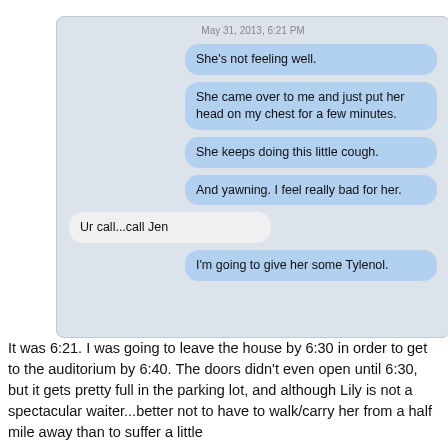[Figure (screenshot): SMS text message conversation screenshot. Timestamp: May 31, 2013, 6:21 PM. Outgoing messages (blue): 'She's not feeling well.', 'She came over to me and just put her head on my chest for a few minutes.', 'She keeps doing this little cough.', 'And yawning. I feel really bad for her.', 'I'm going to give her some Tylenol.' Incoming message (light): 'Ur call...call Jen']
It was 6:21.  I was going to leave the house by 6:30 in order to get to the auditorium by 6:40.  The doors didn't even open until 6:30, but it gets pretty full in the parking lot, and although Lily is not a spectacular waiter...better not to have to walk/carry her from a half mile away than to suffer a little